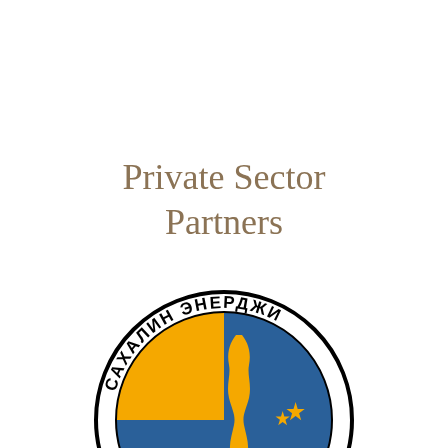Private Sector Partners
[Figure (logo): Circular logo of Sakhalin Energy (САХАЛИН ЭНЕРДЖИ) showing a blue and gold design with the silhouette of Sakhalin island in yellow/orange against a blue background with gold stars, surrounded by a white ring with black Cyrillic text 'САХАЛИН ЭНЕРДЖИ' arching around the top.]